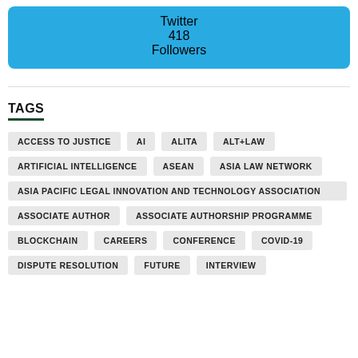[Figure (infographic): Twitter social media widget showing 418 Followers on a blue background]
TAGS
ACCESS TO JUSTICE
AI
ALITA
ALT+LAW
ARTIFICIAL INTELLIGENCE
ASEAN
ASIA LAW NETWORK
ASIA PACIFIC LEGAL INNOVATION AND TECHNOLOGY ASSOCIATION
ASSOCIATE AUTHOR
ASSOCIATE AUTHORSHIP PROGRAMME
BLOCKCHAIN
CAREERS
CONFERENCE
COVID-19
DISPUTE RESOLUTION
FUTURE
INTERVIEW